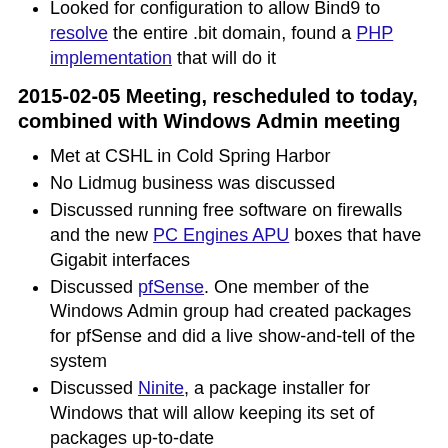Looked for configuration to allow Bind9 to resolve the entire .bit domain, found a PHP implementation that will do it
2015-02-05 Meeting, rescheduled to today, combined with Windows Admin meeting
Met at CSHL in Cold Spring Harbor
No Lidmug business was discussed
Discussed running free software on firewalls and the new PC Engines APU boxes that have Gigabit interfaces
Discussed pfSense. One member of the Windows Admin group had created packages for pfSense and did a live show-and-tell of the system
Discussed Ninite, a package installer for Windows that will allow keeping its set of packages up-to-date
Discussed Vyatta (which has since become VyOS) and Untangle both of which are firewall distributions based on Debian